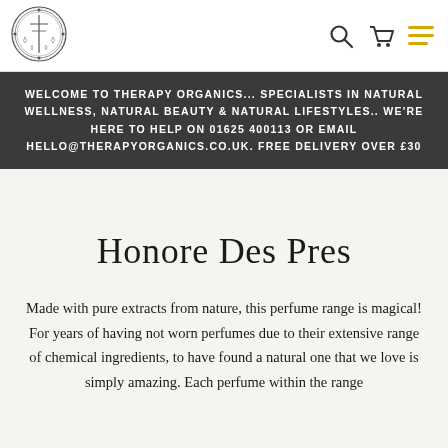[Figure (logo): Circular ornate logo with decorative border and vertical symbol in center — Therapy Organics brand mark]
[Figure (other): Navigation bar icons: search magnifying glass, shopping cart, and yellow hamburger menu lines]
WELCOME TO THERAPY ORGANICS... SPECIALISTS IN NATURAL WELLNESS, NATURAL BEAUTY & NATURAL LIFESTYLES.. WE'RE HERE TO HELP ON 01625 400113 OR EMAIL HELLO@THERAPYORGANICS.CO.UK. FREE DELIVERY OVER £30
Honore Des Pres
Made with pure extracts from nature, this perfume range is magical! For years of having not worn perfumes due to their extensive range of chemical ingredients, to have found a natural one that we love is simply amazing. Each perfume within the range